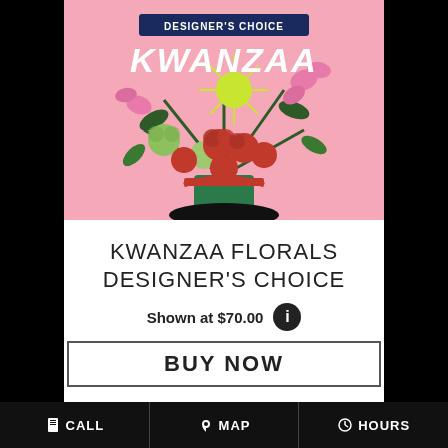[Figure (photo): Kwanzaa floral arrangement in a black vase with red roses, pink alstroemeria, green carnations, yellow-green spider mums, and greenery against a pink background. Text overlay shows 'DESIGNER'S CHOICE' in a navy banner and 'KWANZAA' in large white italic letters.]
KWANZAA FLORALS DESIGNER'S CHOICE
Shown at $70.00
BUY NOW
CALL   MAP   HOURS